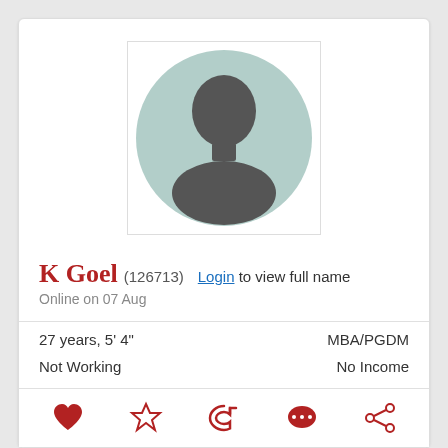[Figure (photo): Default female profile silhouette avatar with light teal circular background inside a white bordered box]
K Goel (126713)   Login to view full name
Online on 07 Aug
27 years, 5' 4"   MBA/PGDM
Not Working   No Income
Female, Unmarried   Goyal Gotra
Above Middle Class   In New Delhi
[Figure (illustration): Bottom action bar with heart, star, undo, chat bubble, and share icons in red/dark red]